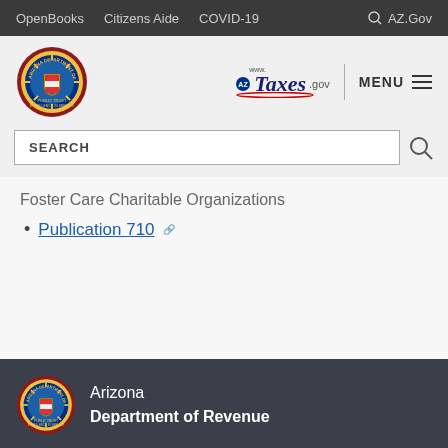OpenBooks   Citizens Aide   COVID-19   AZ.Gov
[Figure (logo): Arizona Department of Revenue seal logo]
[Figure (logo): www.AZTaxes.gov logo with MENU hamburger button]
SEARCH
Foster Care Charitable Organizations
Publication 710
[Figure (logo): Arizona Department of Revenue seal logo in footer]
Arizona
Department of Revenue
CONTACT US
Report an AZTaxes Issue
ARIZONA DEPARTMENT OF REVENUE